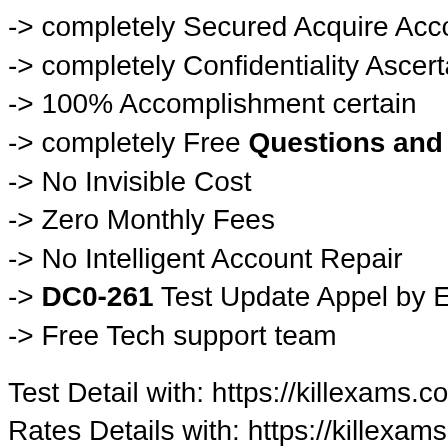-> completely Secured Acquire Account
-> completely Confidentiality Ascertained
-> 100% Accomplishment certain
-> completely Free Questions and Answ
-> No Invisible Cost
-> Zero Monthly Fees
-> No Intelligent Account Repair
-> DC0-261 Test Update Appel by Email
-> Free Tech support team
Test Detail with: https://killexams.com/pa
Rates Details with: https://killexams.com/
Find Complete Collection: https://killexa